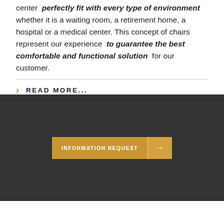center perfectly fit with every type of environment whether it is a waiting room, a retirement home, a hospital or a medical center. This concept of chairs represent our experience to guarantee the best comfortable and functional solution for our customer.
READ MORE...
INFORMATION REQUEST